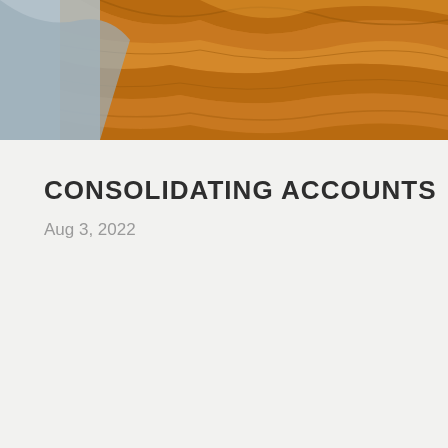[Figure (photo): Close-up photo of wooden furniture or architectural detail showing wood grain texture in warm orange and brown tones, with a bluish-gray element visible in the upper left corner.]
CONSOLIDATING ACCOUNTS
Aug 3, 2022